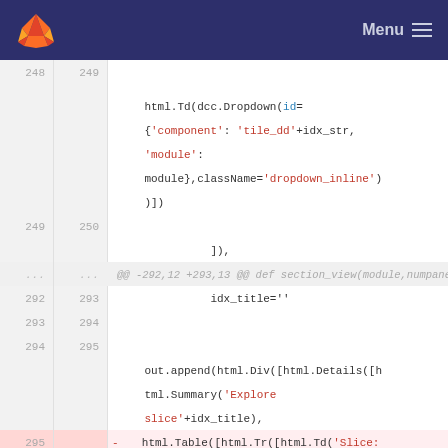GitLab Menu
[Figure (screenshot): GitLab code diff view showing Python code with line numbers. Lines 248-249 show html.Td(dcc.Dropdown(id={'component': 'tile_dd'+idx_str, 'module': module},className='dropdown_inline'))]. Lines 249-250 show ]). Hunk header @@ -292,12 +293,13 @@ def section_view(module,numpanel=1,contrast=T. Lines 292-295 show idx_title='', blank lines. Line 294-295 shows out.append(html.Div([html.Details([html.Summary('Explore slice'+idx_title),. Line 295 removed shows html.Table([html.Tr([html.Td('Slice: '),]